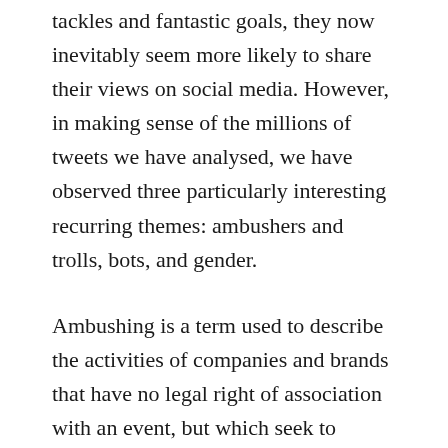tackles and fantastic goals, they now inevitably seem more likely to share their views on social media. However, in making sense of the millions of tweets we have analysed, we have observed three particularly interesting recurring themes: ambushers and trolls, bots, and gender.
Ambushing is a term used to describe the activities of companies and brands that have no legal right of association with an event, but which seek to capitalise upon the marketing opportunities associated with a tournament